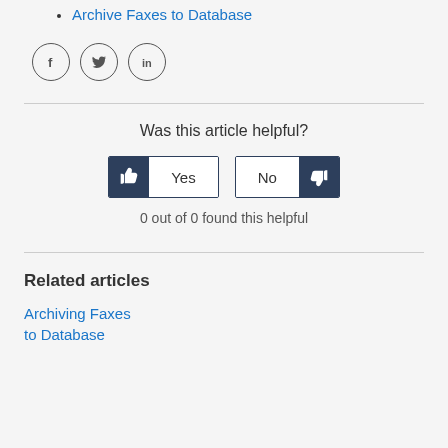Archive Faxes to Database
[Figure (infographic): Three social sharing icons in circles: Facebook (f), Twitter (bird), LinkedIn (in)]
Was this article helpful?
[Figure (infographic): Yes/No voting buttons with thumbs up and thumbs down icons]
0 out of 0 found this helpful
Related articles
Archiving Faxes to Database